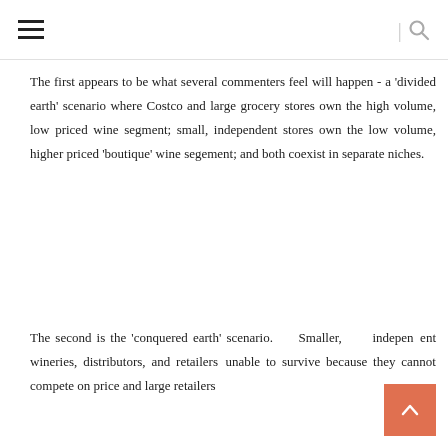≡  |  🔍
The first appears to be what several commenters feel will happen - a 'divided earth' scenario where Costco and large grocery stores own the high volume, low priced wine segment; small, independent stores own the low volume, higher priced 'boutique' wine segement; and both coexist in separate niches.
The second is the 'conquered earth' scenario. Smaller, independent wineries, distributors, and retailers are unable to survive because they cannot compete on price and large retailers